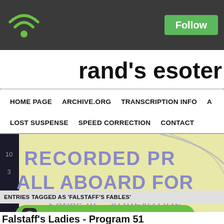[Figure (logo): Podcast WiFi icon (green arc signal with dot on dark background) and green Follow button on dark grey header bar]
rand's esoter
HOME PAGE   ARCHIVE.ORG   TRANSCRIPTION INFO   A   LOST SUSPENSE   SPEED CORRECTION   CONTACT
[Figure (photo): Record label image showing text: RECORDED PR, ALL ABOARD FOR, Series III - ADVENTURE on a yellow-green background with dark vinyl record edge and numbers visible on left]
ENTRIES TAGGED AS 'FALSTAFF'S FABLES'
[Figure (other): Green Podbean App banner: Play this podcast on Podbean App]
Falstaff's Ladies - Program 51